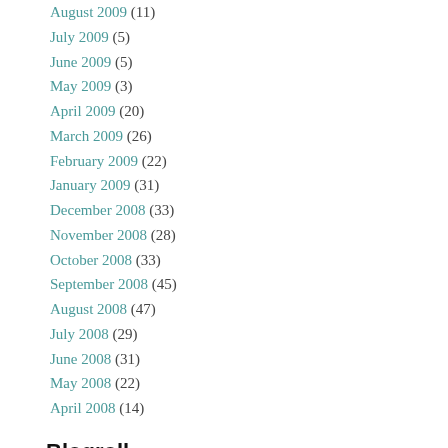August 2009 (11)
July 2009 (5)
June 2009 (5)
May 2009 (3)
April 2009 (20)
March 2009 (26)
February 2009 (22)
January 2009 (31)
December 2008 (33)
November 2008 (28)
October 2008 (33)
September 2008 (45)
August 2008 (47)
July 2008 (29)
June 2008 (31)
May 2008 (22)
April 2008 (14)
Blogroll
Charlie Nesson
Chilling Effects Clearinghouse
Citizen Media Law Project
Creative Commons
David Weinberger
Doc Searls